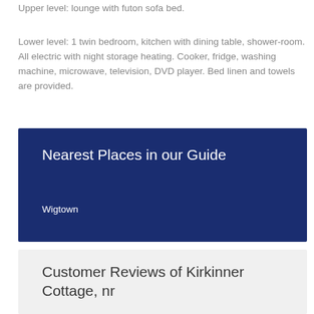Upper level: lounge with futon sofa bed.
Lower level: 1 twin bedroom, kitchen with dining table, shower-room. All electric with night storage heating. Cooker, fridge, washing machine, microwave, television, DVD player. Bed linen and towels are provided.
Nearest Places in our Guide
Wigtown
Customer Reviews of Kirkinner Cottage, nr